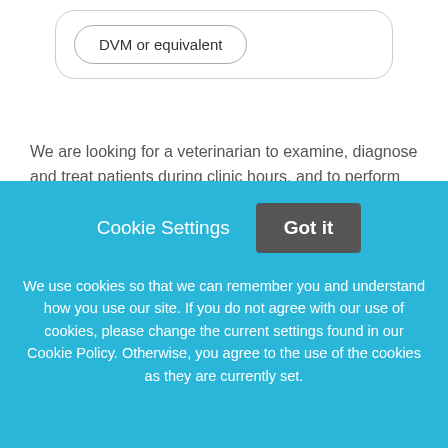[Figure (screenshot): A rounded rectangle UI container with a pill-shaped button labeled 'DVM or equivalent' inside]
We are looking for a veterinarian to examine, diagnose and treat patients during clinic hours, and to perform routine surgeries, dental cleanings, etc. The hospital has been in business for over 50 years, and we are proud of our excellent reputation in the community.
We have deliberately kept the practice size small, so
Cookie Settings
Got it
We use cookies so that we can remember you and understand how you use our site. If you do not agree with our use of cookies, please change the current settings found in our Cookie Policy. Otherwise, you agree to the use of the cookies as they are currently set.